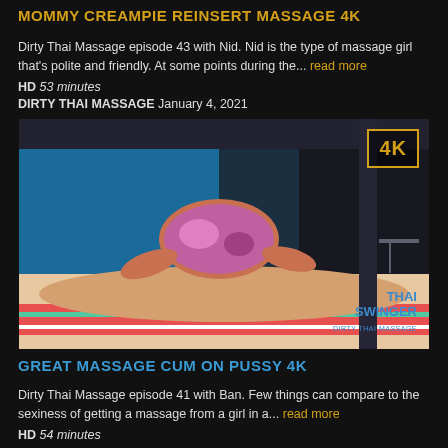MOMMY CREAMPIE REINSERT MASSAGE 4K
Dirty Thai Massage episode 43 with Nid. Nid is the type of massage girl that's polite and friendly. At some points during the... read more
HD 53 minutes
DIRTY THAI MASSAGE January 4, 2021
[Figure (photo): Massage scene photo with a 4K badge in the top right corner and Thai Swinger watermark in the bottom right]
GREAT MASSAGE CUM ON PUSSY 4K
Dirty Thai Massage episode 41 with Ban. Few things can compare to the sexiness of getting a massage from a girl in a... read more
HD 54 minutes